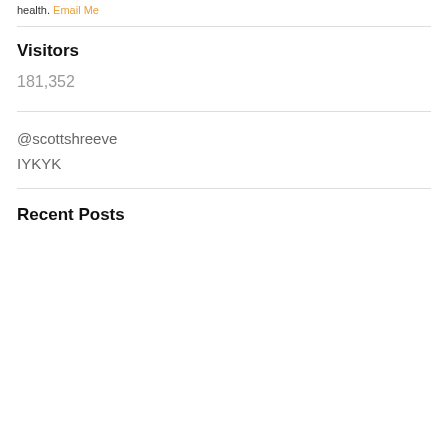health. Email Me
Visitors
181,352
@scottshreeve
IYKYK
Recent Posts